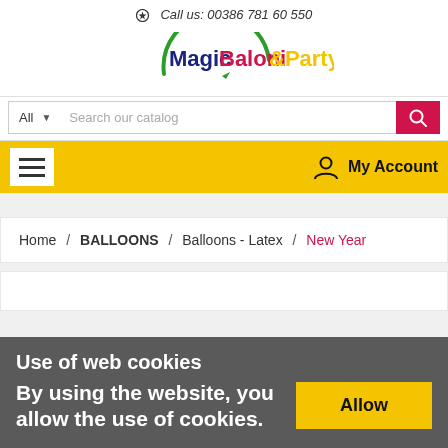Call us: 00386 781 60 550
[Figure (logo): MagicBaloni&Party logo with green arc and arrow]
All  Search our catalog
My Account
Home / BALLOONS / Balloons - Latex / New Year
Use of web cookies
By using the website, you allow the use of cookies.
Allow